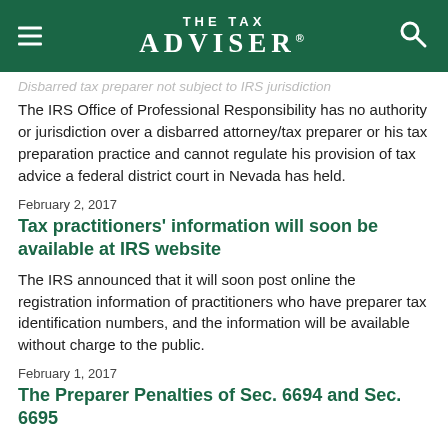THE TAX ADVISER
Disbarred tax preparer not subject to IRS jurisdiction
The IRS Office of Professional Responsibility has no authority or jurisdiction over a disbarred attorney/tax preparer or his tax preparation practice and cannot regulate his provision of tax advice a federal district court in Nevada has held.
February 2, 2017
Tax practitioners' information will soon be available at IRS website
The IRS announced that it will soon post online the registration information of practitioners who have preparer tax identification numbers, and the information will be available without charge to the public.
February 1, 2017
The Preparer Penalties of Sec. 6694 and Sec. 6695